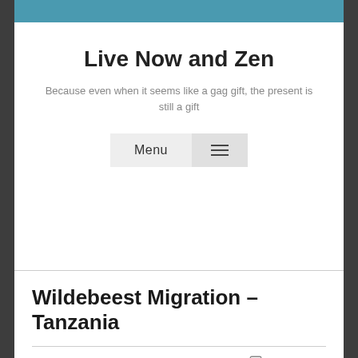Live Now and Zen
Because even when it seems like a gag gift, the present is still a gift
Wildebeest Migration – Tanzania
May 6, 2019   2 Comments